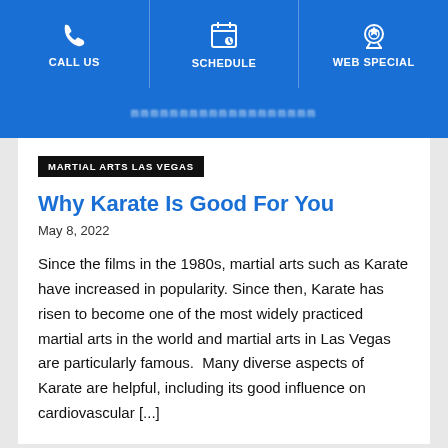CALL US | SCHEDULE | WEB SPECIAL
[Figure (screenshot): Partially visible blurred URL/logo text on blue background]
MARTIAL ARTS LAS VEGAS
Why Karate Is Good For You
May 8, 2022
Since the films in the 1980s, martial arts such as Karate have increased in popularity. Since then, Karate has risen to become one of the most widely practiced martial arts in the world and martial arts in Las Vegas are particularly famous.  Many diverse aspects of Karate are helpful, including its good influence on cardiovascular [...]